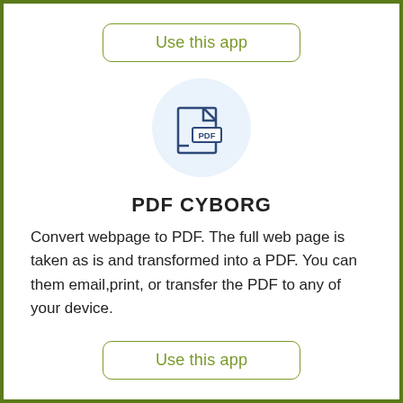Use this app
[Figure (illustration): PDF file icon with folded corner and 'PDF' label inside a light blue circle]
PDF CYBORG
Convert webpage to PDF. The full web page is taken as is and transformed into a PDF. You can them email,print, or transfer the PDF to any of your device.
Use this app